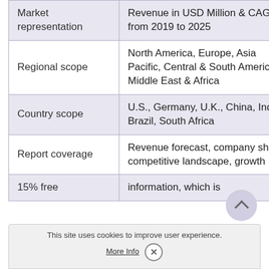|  |  |
| --- | --- |
| Market representation | Revenue in USD Million & CAGR from 2019 to 2025 |
| Regional scope | North America, Europe, Asia Pacific, Central & South America & Middle East & Africa |
| Country scope | U.S., Germany, U.K., China, India, Brazil, South Africa |
| Report coverage | Revenue forecast, company share, competitive landscape, growth |
| 15% free | information, which is |
This site uses cookies to improve user experience.